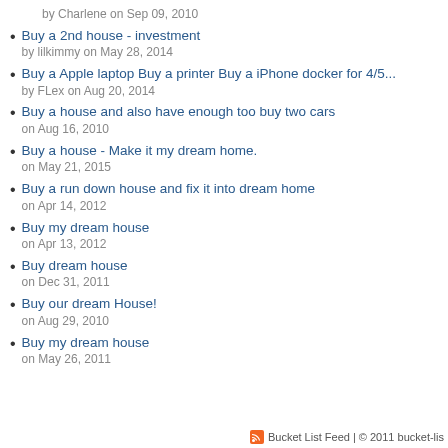by Charlene on Sep 09, 2010
Buy a 2nd house - investment
by lilkimmy on May 28, 2014
Buy a Apple laptop Buy a printer Buy a iPhone docker for 4/5...
by FLex on Aug 20, 2014
Buy a house and also have enough too buy two cars
on Aug 16, 2010
Buy a house - Make it my dream home.
on May 21, 2015
Buy a run down house and fix it into dream home
on Apr 14, 2012
Buy my dream house
on Apr 13, 2012
Buy dream house
on Dec 31, 2011
Buy our dream House!
on Aug 29, 2010
Buy my dream house
on May 26, 2011
Bucket List Feed | © 2011 bucket-lis